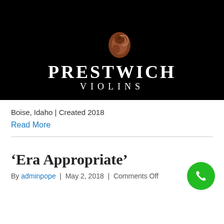[Figure (logo): Prestwich Violins logo on black background with violin illustration, text reads PRESTWICH VIOLINS]
Boise, Idaho | Created 2018
Read More
‘Era Appropriate’
By adminpope | May 2, 2018 | Comments Off